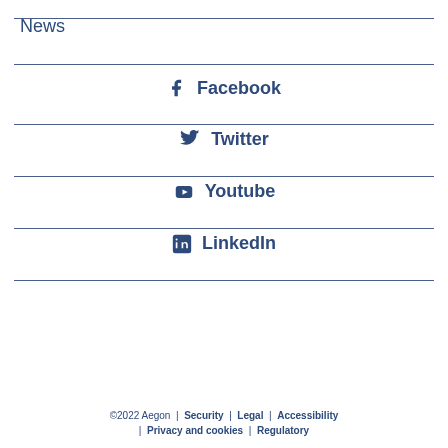News
Facebook
Twitter
Youtube
LinkedIn
©2022 Aegon  |  Security  |  Legal  |  Accessibility  |  Privacy and cookies  |  Regulatory